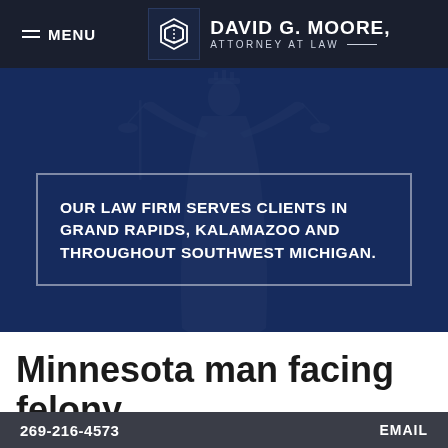MENU | DAVID G. MOORE, ATTORNEY AT LAW
[Figure (screenshot): Law firm website hero section with Lady Justice silhouette in dark navy blue background]
OUR LAW FIRM SERVES CLIENTS IN GRAND RAPIDS, KALAMAZOO AND THROUGHOUT SOUTHWEST MICHIGAN.
Minnesota man facing felony
269-216-4573  EMAIL